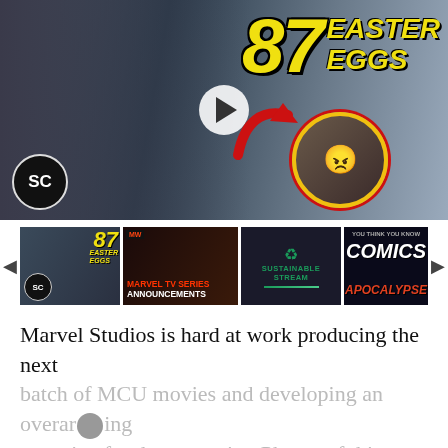[Figure (screenshot): Video thumbnail showing a woman in medieval costume on the left, large yellow '87 EASTER EGGS' text on the right, a circular inset of an angry man's face with a red arrow, SC logo badge, and a play button in the center.]
[Figure (screenshot): Strip of four video thumbnails: (1) same 87 Easter Eggs thumbnail with SC badge, (2) Marvel TV Series Announcements thumbnail in red/dark, (3) Sustainable Stream logo on dark background, (4) 'You Think You Know Comics: Apocalypse' thumbnail. Left and right navigation arrows.]
Marvel Studios is hard at work producing the next batch of MCU movies and developing an overarching narrative for the upcoming Phases of this